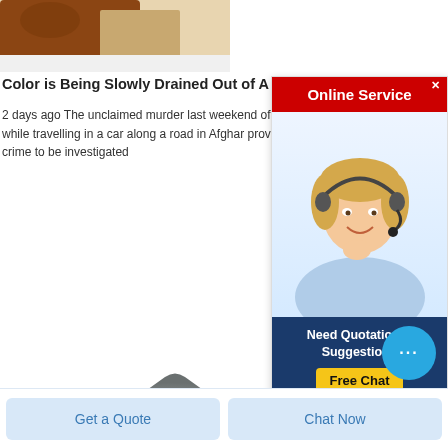[Figure (photo): Partial photo of a brown wooden or clay block on a light background, top portion visible]
Color is Being Slowly Drained Out of A…
2 days ago The unclaimed murder last weekend of a jo… relatives while travelling in a car along a road in Afghar… province remains a crime to be investigated
[Figure (photo): Online Service advertisement with a woman wearing a headset smiling, red banner header, and a dark blue lower section with 'Need Quotation & Suggestion? Free Chat']
[Figure (photo): Pile of grey metallic powder on white background]
Get a Quote
Chat Now